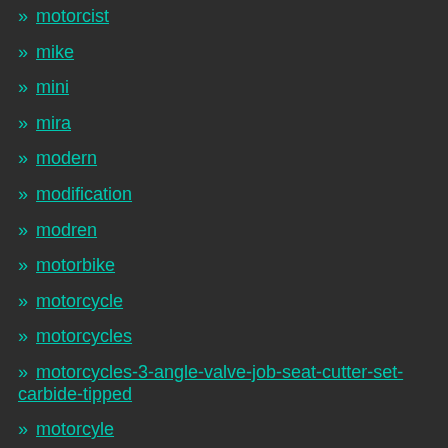» motorcist
» mike
» mini
» mira
» modern
» modification
» modren
» motorbike
» motorcycle
» motorcycles
» motorcycles-3-angle-valve-job-seat-cutter-set-carbide-tipped
» motorcyle
» move
» ms34
» neway